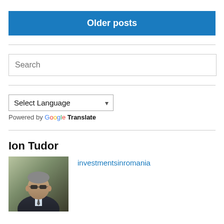Older posts
Search
Select Language
Powered by Google Translate
Ion Tudor
[Figure (photo): Photo of Ion Tudor, a man in a dark suit and tie wearing sunglasses, photographed outdoors]
investmentsinromania